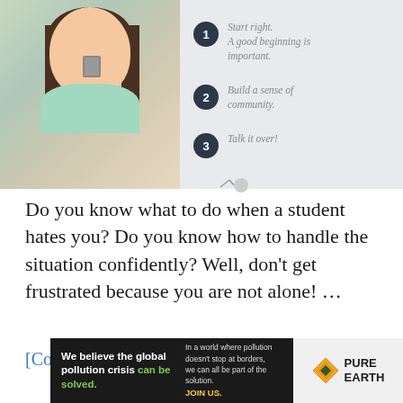[Figure (photo): Top image split into two sections: left side shows a smiling woman with dark hair wearing a teal/green patterned top and a pendant necklace; right side shows a light gray background with three numbered steps (dark circle icons with numbers 1, 2, 3) and italic gray text for each step.]
1 Start right. A good beginning is important.
2 Build a sense of community.
3 Talk it over!
Do you know what to do when a student hates you? Do you know how to handle the situation confidently? Well, don't get frustrated because you are not alone! …
[Continue Reading...]
[Figure (infographic): Advertisement banner for Pure Earth. Left black section reads: 'We believe the global pollution crisis can be solved.' with green text on 'can be solved.' and right gray text: 'In a world where pollution doesn't stop at borders, we can all be part of the solution. JOIN US.' Right section shows Pure Earth logo with diamond/chevron icon and bold text 'PURE EARTH'.]